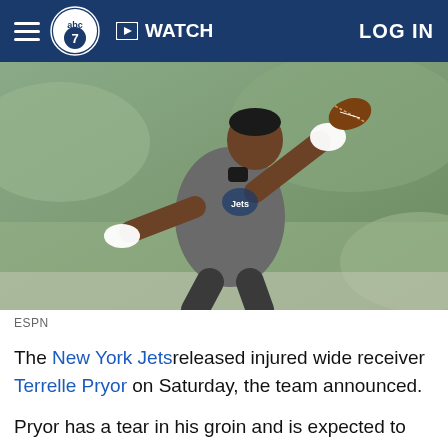abc7 | WATCH | LOG IN
[Figure (photo): A New York Jets wide receiver in a grey Jets jersey wearing white gloves, catching or releasing a football at practice outdoors.]
ESPN
The New York Jets released injured wide receiver Terrelle Pryor on Saturday, the team announced.
Pryor has a tear in his groin and is expected to miss about two weeks.